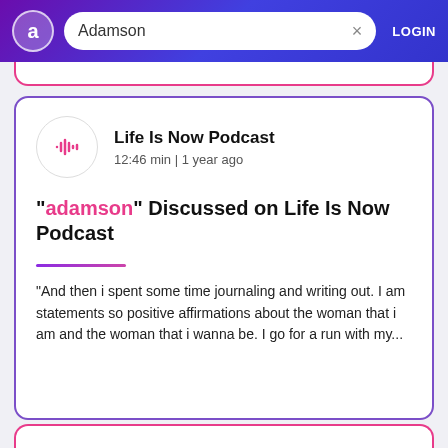Adamson  LOGIN
Life Is Now Podcast
12:46 min | 1 year ago
"adamson" Discussed on Life Is Now Podcast
"And then i spent some time journaling and writing out. I am statements so positive affirmations about the woman that i am and the woman that i wanna be. I go for a run with my...